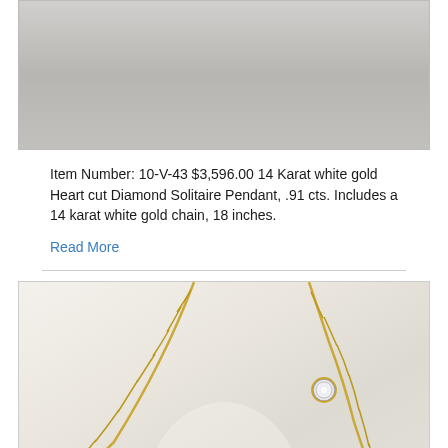[Figure (photo): Top portion of a jewelry photo showing a gray/silver background, partial view of a pendant display]
Item Number: 10-V-43 $3,596.00 14 Karat white gold Heart cut Diamond Solitaire Pendant, .91 cts. Includes a 14 karat white gold chain, 18 inches.
Read More
[Figure (photo): Gold chain necklace displayed on a white jewelry bust/mannequin neck form, with a small round diamond solitaire pendant visible on the chain]